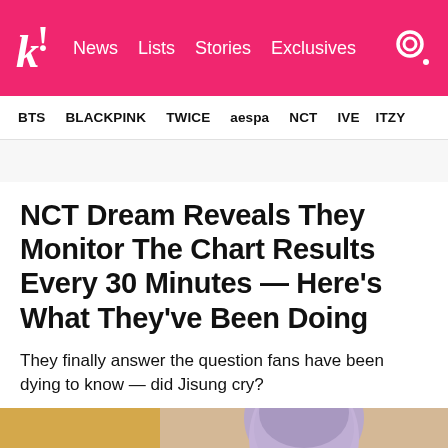k! News Lists Stories Exclusives
BTS BLACKPINK TWICE aespa NCT IVE ITZY
NCT Dream Reveals They Monitor The Chart Results Every 30 Minutes — Here’s What They’ve Been Doing
They finally answer the question fans have been dying to know — did Jisung cry?
[Figure (photo): Photo strip showing two people, left side with warm yellow/tan background and right side showing a person with lavender/purple hair]